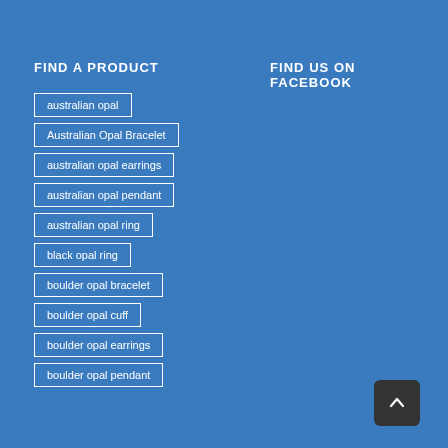FIND A PRODUCT
FIND US ON FACEBOOK
australian opal
Australian Opal Bracelet
australian opal earrings
australian opal pendant
australian opal ring
black opal ring
boulder opal bracelet
boulder opal cuff
boulder opal earrings
boulder opal pendant